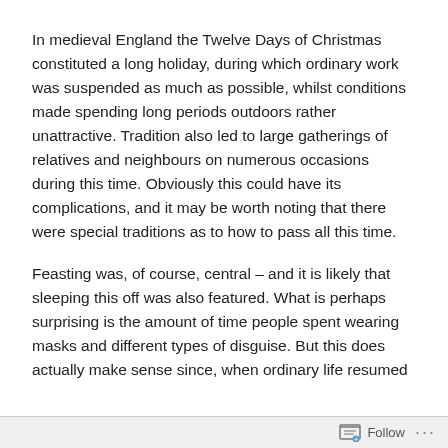In medieval England the Twelve Days of Christmas constituted a long holiday, during which ordinary work was suspended as much as possible, whilst conditions made spending long periods outdoors rather unattractive. Tradition also led to large gatherings of relatives and neighbours on numerous occasions during this time. Obviously this could have its complications, and it may be worth noting that there were special traditions as to how to pass all this time.
Feasting was, of course, central – and it is likely that sleeping this off was also featured. What is perhaps surprising is the amount of time people spent wearing masks and different types of disguise. But this does actually make sense since, when ordinary life resumed
Follow